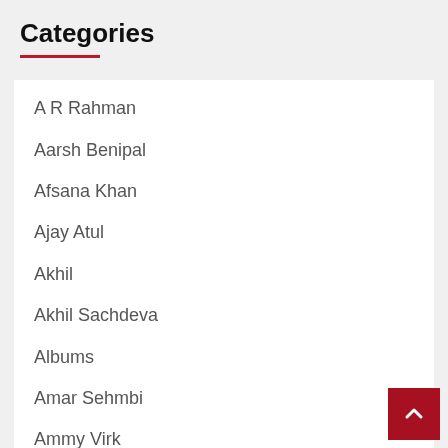Categories
A R Rahman
Aarsh Benipal
Afsana Khan
Ajay Atul
Akhil
Akhil Sachdeva
Albums
Amar Sehmbi
Ammy Virk
Amrit Maan
Anshdeep